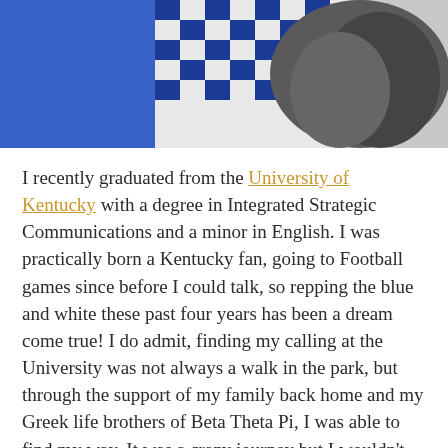[Figure (photo): Partial photo showing blue and white checkered fabric/flag and a dark stone or rock structure, taken outdoors.]
I recently graduated from the University of Kentucky with a degree in Integrated Strategic Communications and a minor in English. I was practically born a Kentucky fan, going to Football games since before I could talk, so repping the blue and white these past four years has been a dream come true! I do admit, finding my calling at the University was not always a walk in the park, but through the support of my family back home and my Greek life brothers of Beta Theta Pi, I was able to find my way. It was a crazy journey but I wouldn't change a thing!